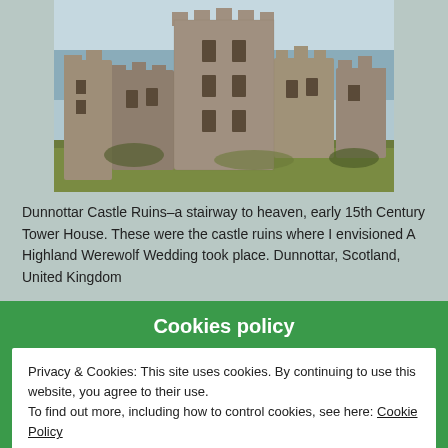[Figure (photo): Dunnottar Castle ruins, a medieval stone tower and surrounding walls on a rocky landscape with water visible in the background]
Dunnottar Castle Ruins–a stairway to heaven, early 15th Century Tower House. These were the castle ruins where I envisioned A Highland Werewolf Wedding took place. Dunnottar, Scotland, United Kingdom
Cookies policy
Privacy & Cookies: This site uses cookies. By continuing to use this website, you agree to their use.
To find out more, including how to control cookies, see here: Cookie Policy
Close and accept